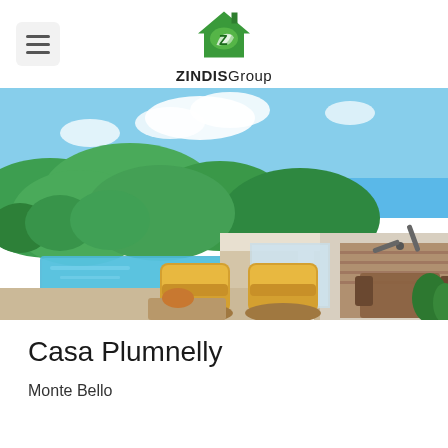ZINDIS Group
[Figure (photo): Luxury villa outdoor terrace with two yellow cushioned wicker chairs beside an infinity pool overlooking lush green hills and ocean bay under blue sky. Covered patio area with ceiling fan and dining set visible in background.]
Casa Plumnelly
Monte Bello